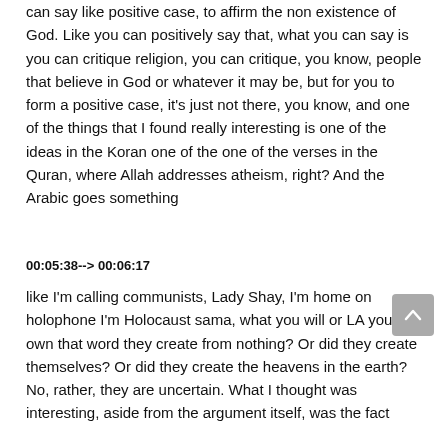can say like positive case, to affirm the non existence of God. Like you can positively say that, what you can say is you can critique religion, you can critique, you know, people that believe in God or whatever it may be, but for you to form a positive case, it's just not there, you know, and one of the things that I found really interesting is one of the ideas in the Koran one of the one of the verses in the Quran, where Allah addresses atheism, right? And the Arabic goes something
00:05:38--> 00:06:17
like I'm calling communists, Lady Shay, I'm home on holophone I'm Holocaust sama, what you will or LA you can own that word they create from nothing? Or did they create themselves? Or did they create the heavens in the earth? No, rather, they are uncertain. What I thought was interesting, aside from the argument itself, was the fact